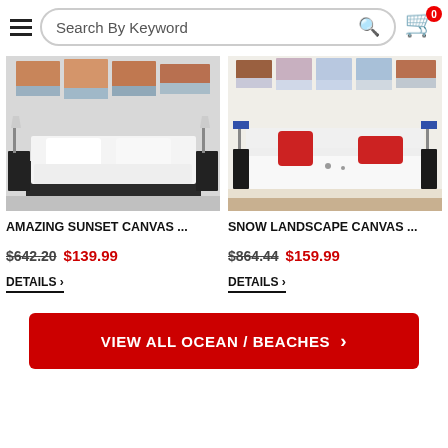Search By Keyword
[Figure (photo): Bedroom scene with wall canvas art panels showing sunset/beach landscape above a modern dark-framed bed with white bedding]
AMAZING SUNSET CANVAS ...
$642.20  $139.99
DETAILS >
[Figure (photo): Living room scene with wall canvas art panels showing snow landscape above a white sofa with red cushions and blue lamps]
SNOW LANDSCAPE CANVAS ...
$864.44  $159.99
DETAILS >
VIEW ALL OCEAN / BEACHES  >